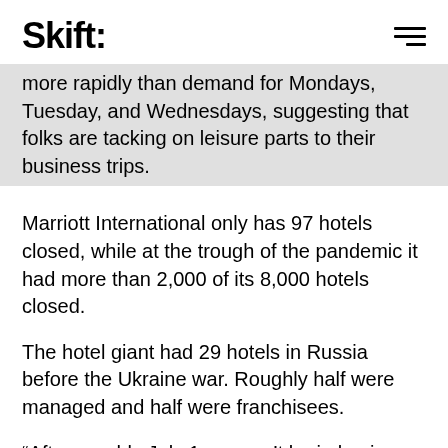Skift
more rapidly than demand for Mondays, Tuesday, and Wednesdays, suggesting that folks are tacking on leisure parts to their business trips.
Marriott International only has 97 hotels closed, while at the trough of the pandemic it had more than 2,000 of its 8,000 hotels closed.
The hotel giant had 29 hotels in Russia before the Ukraine war. Roughly half were managed and half were franchisees.
“After roughly July 1 we won’t be in business in Russia,” Capuano said.